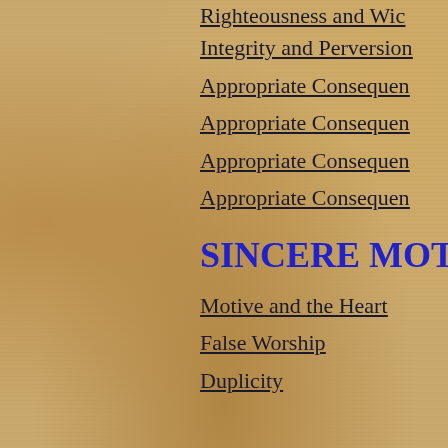Righteousness and Wic…
Integrity and Perversion
Appropriate Consequen…
Appropriate Consequen…
Appropriate Consequen…
Appropriate Consequen…
SINCERE MOTI…
Motive and the Heart
False Worship
Duplicity